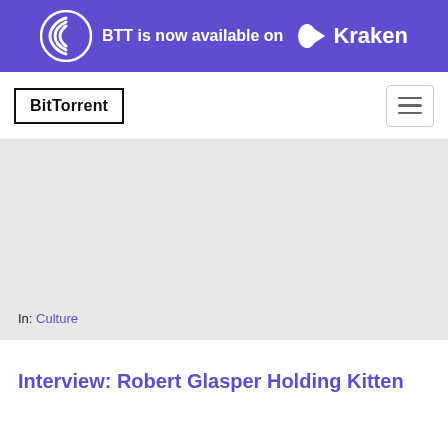[Figure (logo): BTT is now available on Kraken — purple banner with BitTorrent swirl logo and Kraken logo]
BitTorrent
[Figure (photo): Large light gray hero image placeholder area]
In: Culture
Interview: Robert Glasper Holding Kitten